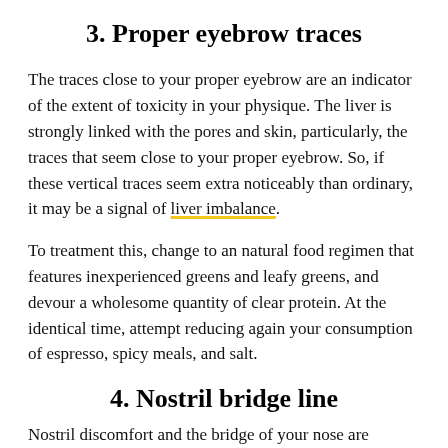3. Proper eyebrow traces
The traces close to your proper eyebrow are an indicator of the extent of toxicity in your physique. The liver is strongly linked with the pores and skin, particularly, the traces that seem close to your proper eyebrow. So, if these vertical traces seem extra noticeably than ordinary, it may be a signal of liver imbalance.
To treatment this, change to an natural food regimen that features inexperienced greens and leafy greens, and devour a wholesome quantity of clear protein. At the identical time, attempt reducing again your consumption of espresso, spicy meals, and salt.
4. Nostril bridge line
Nostril discomfort and the bridge of your nose are associated and